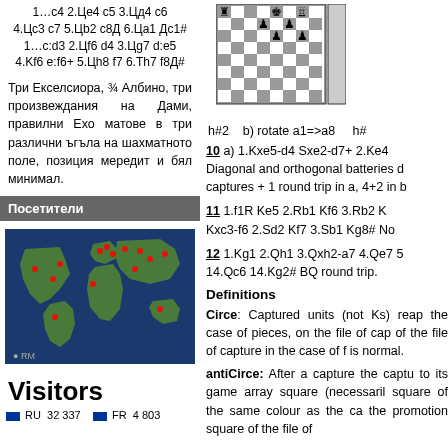1…c4 2.Це4 c5 3.Цд4 c6
4.Цс3 c7 5.Цb2 c8Д 6.Цa1 Дc1#
1…c:d3 2.Цf6 d4 3.Цg7 d:e5
4.Kf6 e:f6+ 5.Цh8 f7 6.Тh7 f8Д#
Три Екселсиора, ¾ Албино, три произвеждания на Дами, правилни Ехо матове в три различни ъгъла на шахматното поле, позиция мередит и бял минимал.
Посетители
[Figure (map): World map showing visitor locations with red dots]
Visitors
RU 32 337   FR 4 803
[Figure (other): Chess board diagram showing piece positions]
h#2   b) rotate a1=>a8      h#
10 a) 1.Kxe5-d4 Sxe2-d7+ 2.Ke4 Diagonal and orthogonal batteries d captures + 1 round trip in a, 4+2 in b
11 1.f1R Ke5 2.Rb1 Kf6 3.Rb2 K Kxc3-f6 2.Sd2 Kf7 3.Sb1 Kg8# No
12 1.Kg1 2.Qh1 3.Qxh2-a7 4.Qe7 5 14.Qc6 14.Kg2# BQ round trip.
Definitions
Circe: Captured units (not Ks) reap the case of pieces, on the file of cap of the file of capture in the case of f is normal.
antiCirce: After a capture the captu to its game array square (necessaril square of the same colour as the ca the promotion square of the file of